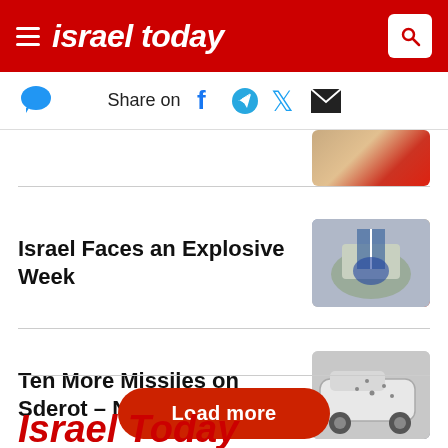israel today
Share on
[Figure (photo): Partial thumbnail of people, top right corner]
Israel Faces an Explosive Week
[Figure (photo): People waving Israeli flags, gathered together]
Ten More Missiles on Sderot – Now What?
[Figure (photo): White car with bullet holes or shrapnel damage]
Load more
Israel Today